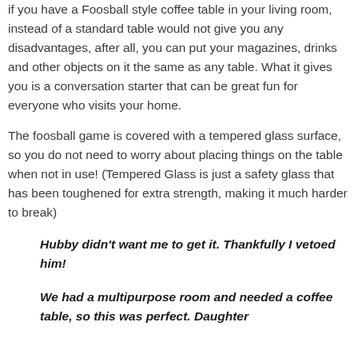if you have a Foosball style coffee table in your living room, instead of a standard table would not give you any disadvantages, after all, you can put your magazines, drinks and other objects on it the same as any table. What it gives you is a conversation starter that can be great fun for everyone who visits your home.
The foosball game is covered with a tempered glass surface, so you do not need to worry about placing things on the table when not in use! (Tempered Glass is just a safety glass that has been toughened for extra strength, making it much harder to break)
Hubby didn't want me to get it. Thankfully I vetoed him!
We had a multipurpose room and needed a coffee table, so this was perfect. Daughter